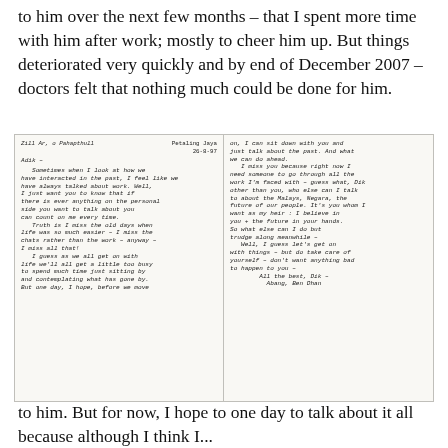to him over the next few months – that I spent more time with him after work; mostly to cheer him up. But things deteriorated very quickly and by end of December 2007 – doctors felt that nothing much could be done for him.
[Figure (photo): Handwritten letter in two columns, dated 26-8-97 from Petaling Jaya, addressed to 'Adik'. The letter discusses missing old times, personal conversations about work and life, and ends with 'All the best, Dik – Abang, [signature]'.]
...to him. But for now, I hope to one day to talk about it all because although I think I...